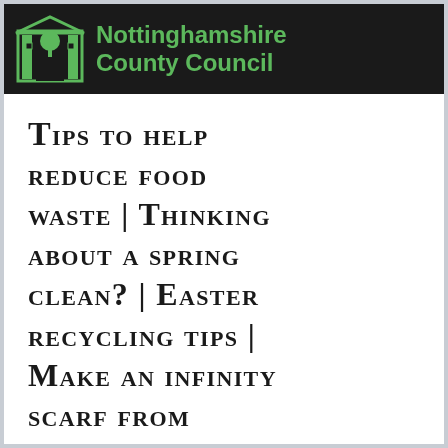Nottinghamshire County Council
Tips to help reduce food waste | Thinking about a spring clean? | Easter recycling tips | Make an infinity scarf from